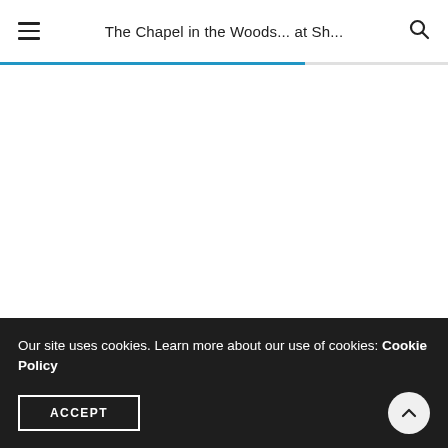The Chapel in the Woods... at Sh...
[Figure (photo): A large white/blank image area showing a map or photo related to the chapel location]
A map showing the location of the chapel
Our site uses cookies. Learn more about our use of cookies: Cookie Policy